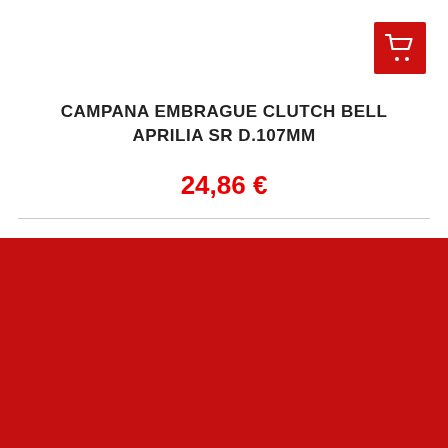[Figure (other): Red shopping cart button icon in top right corner]
CAMPANA EMBRAGUE CLUTCH BELL APRILIA SR D.107MM
24,86 €
Nuestra tienda usa cookies propias y de terceros para mejorar la experiencia de usuario. Le recomendamos aceptar su uso para aprovechar plenamente la navegación. LA ACEPTACIÓN DE COOKIES ES NECESARIA PARA PODER REALIZAR COMPRAS EN NUESTRA WEB.
Más información
Gestionar cookies
ACEPTO
Carrito   Arquetas   Suggest